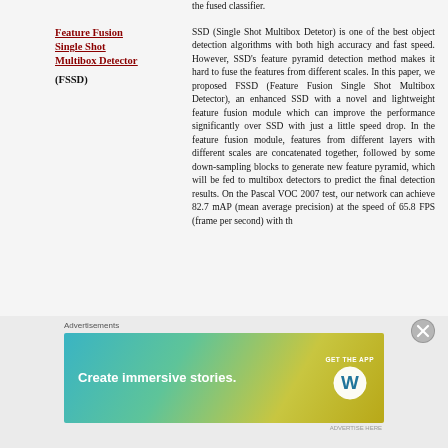the fused classifier.
Feature Fusion Single Shot Multibox Detector (FSSD)
SSD (Single Shot Multibox Detetor) is one of the best object detection algorithms with both high accuracy and fast speed. However, SSD's feature pyramid detection method makes it hard to fuse the features from different scales. In this paper, we proposed FSSD (Feature Fusion Single Shot Multibox Detector), an enhanced SSD with a novel and lightweight feature fusion module which can improve the performance significantly over SSD with just a little speed drop. In the feature fusion module, features from different layers with different scales are concatenated together, followed by some down-sampling blocks to generate new feature pyramid, which will be fed to multibox detectors to predict the final detection results. On the Pascal VOC 2007 test, our network can achieve 82.7 mAP (mean average precision) at the speed of 65.8 FPS (frame per second) with th
Advertisements
[Figure (infographic): Advertisement banner: 'Create immersive stories. GET THE APP' with WordPress logo, gradient blue-green-yellow background.]